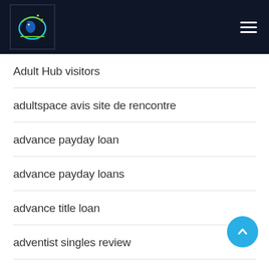[Figure (logo): Website logo with circular design on dark navy background with hamburger menu icon]
Adult Hub visitors
adultspace avis site de rencontre
advance payday loan
advance payday loans
advance title loan
adventist singles review
adventist singles szukaj wedlug nazwy